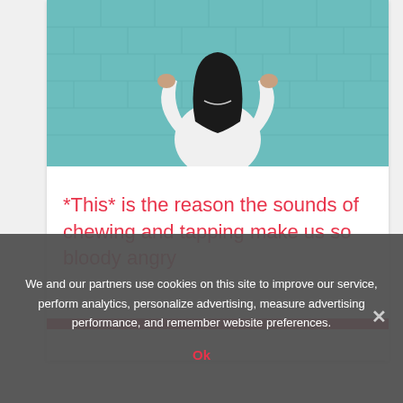[Figure (photo): Person with back turned, arms raised behind head, standing against a teal/turquoise tiled wall, wearing a white top with long dark hair.]
*This* is the reason the sounds of chewing and tapping make us so bloody angry
We and our partners use cookies on this site to improve our service, perform analytics, personalize advertising, measure advertising performance, and remember website preferences.
Ok